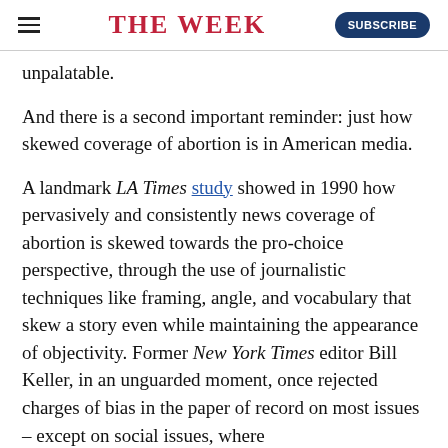THE WEEK
unpalatable.
And there is a second important reminder: just how skewed coverage of abortion is in American media.
A landmark LA Times study showed in 1990 how pervasively and consistently news coverage of abortion is skewed towards the pro-choice perspective, through the use of journalistic techniques like framing, angle, and vocabulary that skew a story even while maintaining the appearance of objectivity. Former New York Times editor Bill Keller, in an unguarded moment, once rejected charges of bias in the paper of record on most issues – except on social issues, where